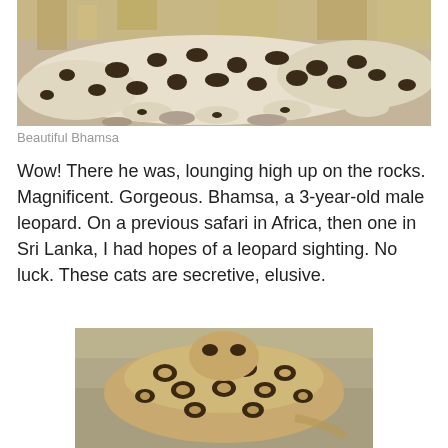[Figure (photo): Close-up photograph of a leopard (Bhamsa) lounging among dry grass and rocks, showing spotted coat pattern clearly]
Beautiful Bhamsa
Wow! There he was, lounging high up on the rocks. Magnificent. Gorgeous. Bhamsa, a 3-year-old male leopard. On a previous safari in Africa, then one in Sri Lanka, I had hopes of a leopard sighting. No luck. These cats are secretive, elusive.
[Figure (photo): Photograph of a leopard resting, viewed from above, showing distinctive rosette spot pattern on its coat]